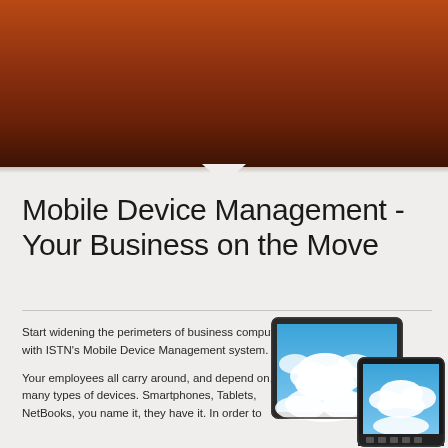[Figure (illustration): Dark brown/rust gradient header banner background for a presentation slide]
Mobile Device Management - Your Business on the Move
Start widening the perimeters of business computing with ISTN's Mobile Device Management system.
Your employees all carry around, and depend on, many types of devices. Smartphones, Tablets, NetBooks, you name it, they have it. In order to
[Figure (photo): A tablet and smartphone showing a blue sky with clouds on their screens, representing mobile devices]